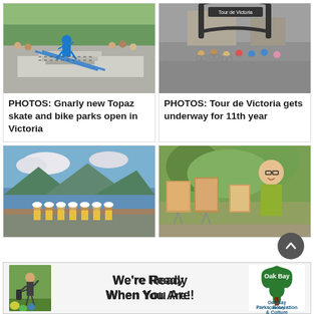[Figure (photo): Skateboarder performing a trick on rails at Topaz skate park with crowd watching, outdoors on a sunny day]
PHOTOS: Gnarly new Topaz skate and bike parks open in Victoria
[Figure (photo): Cyclists at the start of Tour de Victoria race under an inflatable arch that reads Tour de Victoria]
PHOTOS: Tour de Victoria gets underway for 11th year
[Figure (photo): Group of cyclists in matching yellow and blue jerseys posing near a waterfront with mountains in background]
[Figure (photo): Woman smiling holding a painting at an outdoor art event with multiple paintings on easels around her]
[Figure (photo): Advertisement banner: golfer on left, text We're Ready When You Are!, Oak Bay Parks Recreation & Culture logo on right]